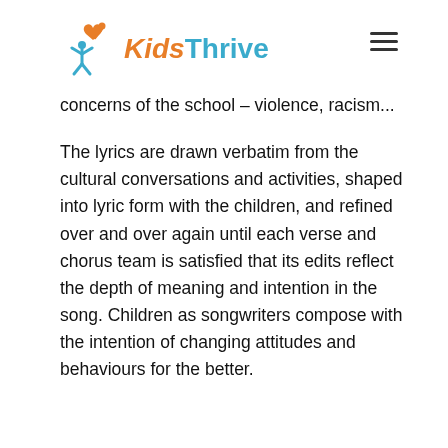Kids Thrive
concerns of the school – violence, racism...
The lyrics are drawn verbatim from the cultural conversations and activities, shaped into lyric form with the children, and refined over and over again until each verse and chorus team is satisfied that its edits reflect the depth of meaning and intention in the song. Children as songwriters compose with the intention of changing attitudes and behaviours for the better.